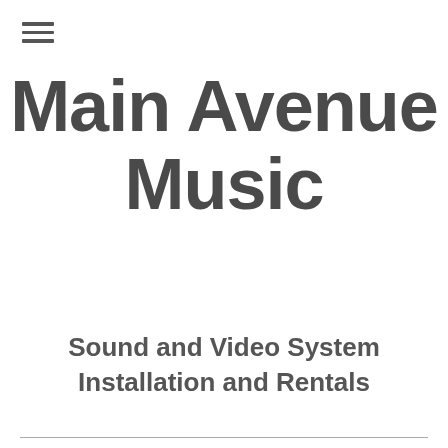[Figure (other): Hamburger menu icon with three horizontal lines]
Main Avenue Music
Sound and Video System Installation and Rentals